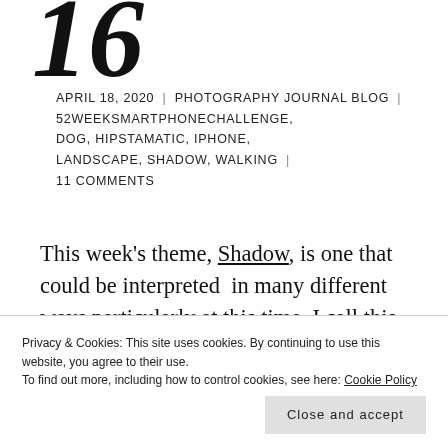16
APRIL 18, 2020 | PHOTOGRAPHY JOURNAL BLOG | 52WEEKSMARTPHONECHALLENGE, DOG, HIPSTAMATIC, IPHONE, LANDSCAPE, SHADOW, WALKING | 11 COMMENTS
This week's theme, Shadow, is one that could be interpreted in many different ways particularly at this time. I call this photo, Stepping Into My Space:
Privacy & Cookies: This site uses cookies. By continuing to use this website, you agree to their use.
To find out more, including how to control cookies, see here: Cookie Policy
Close and accept